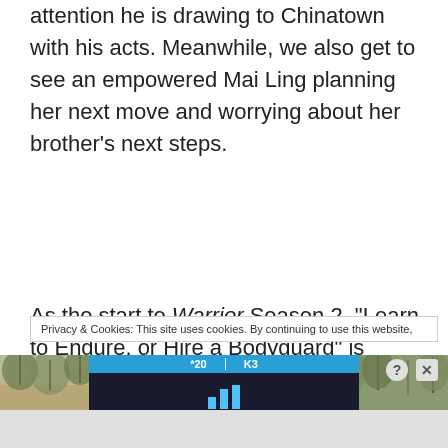attention he is drawing to Chinatown with his acts. Meanwhile, we also get to see an empowered Mai Ling planning her next move and worrying about her brother's next steps.
As the start to Warrior Season 2, “Learn to Endure, or Hire a Bodyguard” is everything I loved about the first season of the show packed into a one-hour episode. Koji is an action star, with the choreographers still managing to offer homage to the iconic Bruce Lee
Privacy & Cookies: This site uses cookies. By continuing to use this website,
[Figure (screenshot): Advertisement overlay showing a sports app with score bar displaying '20' and 'K3', a game icon with bar chart symbol, and text 'Hold and Move' on dark background, with trees visible in background on left and right sides. Close (X) and help (?) buttons visible in top right.]